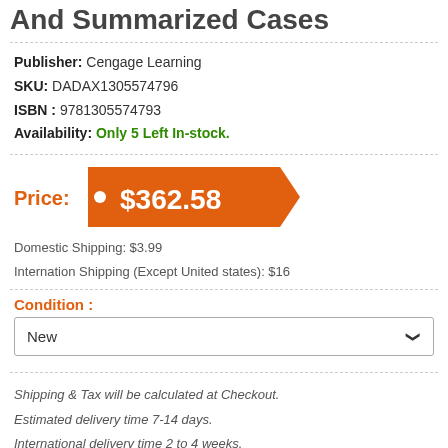And Summarized Cases
Publisher: Cengage Learning
SKU: DADAX1305574796
ISBN : 9781305574793
Availability: Only 5 Left In-stock.
Price: $362.58
Domestic Shipping: $3.99
Internation Shipping (Except United states): $16
Condition :
New
Shipping & Tax will be calculated at Checkout.
Estimated delivery time 7-14 days.
International delivery time 2 to 4 weeks.
Qty: 1